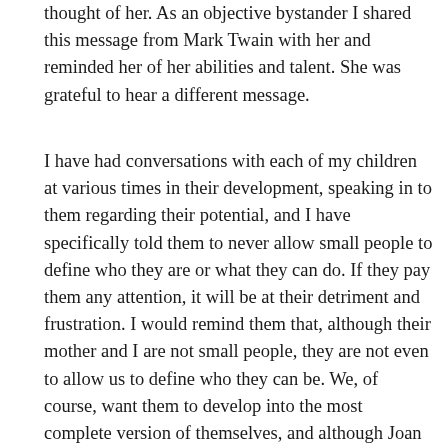thought of her. As an objective bystander I shared this message from Mark Twain with her and reminded her of her abilities and talent. She was grateful to hear a different message.
I have had conversations with each of my children at various times in their development, speaking in to them regarding their potential, and I have specifically told them to never allow small people to define who they are or what they can do. If they pay them any attention, it will be at their detriment and frustration. I would remind them that, although their mother and I are not small people, they are not even to allow us to define who they can be. We, of course, want them to develop into the most complete version of themselves, and although Joan and I have ideas of what that could look like, we raised them to think for themselves and create the life that they want. They are all great, and I am convinced whatever it is they decide to be I will be a fan and be proud of